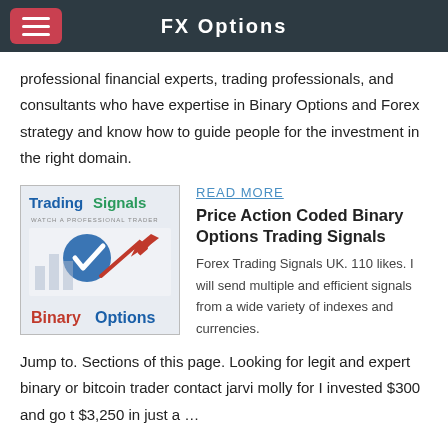FX Options
professional financial experts, trading professionals, and consultants who have expertise in Binary Options and Forex strategy and know how to guide people for the investment in the right domain.
[Figure (illustration): Trading Signals promotional image with blue and red arrow chart graphic and text 'Binary Options'. Subtitle reads 'WATCH A PROFESSIONAL TRADER'.]
READ MORE
Price Action Coded Binary Options Trading Signals
Forex Trading Signals UK. 110 likes. I will send multiple and efficient signals from a wide variety of indexes and currencies.
Jump to. Sections of this page. Looking for legit and expert binary or bitcoin trader contact jarvi molly for I invested $300 and go t $3,250 in just a …